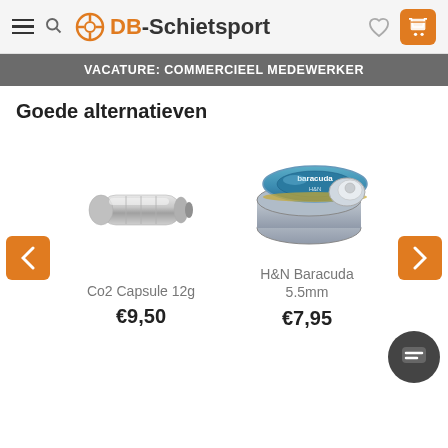[Figure (screenshot): DB-Schietsport website header with hamburger menu, search icon, logo, heart icon, and orange cart button]
VACATURE: COMMERCIEEL MEDEWERKER
Goede alternatieven
[Figure (photo): CO2 Capsule 12g product image - silver metal CO2 cartridge]
[Figure (photo): H&N Baracuda 5.5mm product image - round tin of airgun pellets with blue and silver design]
Co2 Capsule 12g
€9,50
H&N Baracuda 5.5mm
€7,95